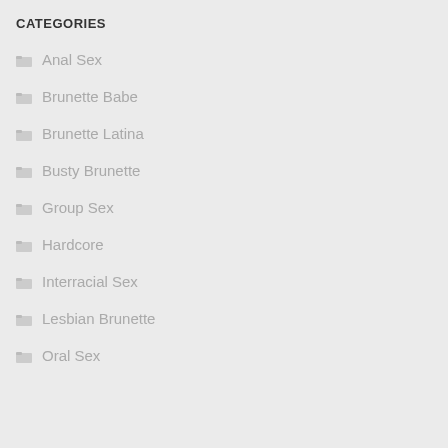CATEGORIES
Anal Sex
Brunette Babe
Brunette Latina
Busty Brunette
Group Sex
Hardcore
Interracial Sex
Lesbian Brunette
Oral Sex